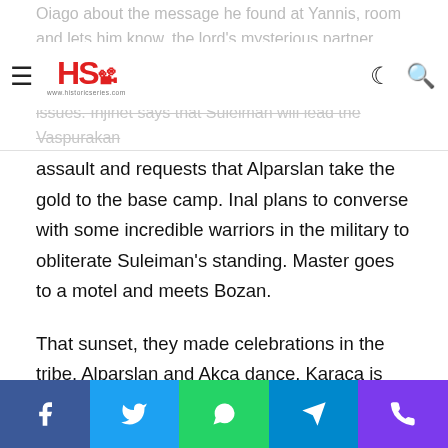HS [logo] historicseries.com
assault and requests that Alparslan take the gold to the base camp. Inal plans to converse with some incredible warriors in the military to obliterate Suleiman's standing. Master goes to a motel and meets Bozan.
That sunset, they made celebrations in the tribe. Alparslan and Akca dance. Karaca is extremely surprized by the present situation. Alparslan advises Hassan that he needs to alter the Sultan's perspective. Hassan requests that Alparslan keep even headed and submit to the Sultan's organization. The next day, Alp Arslan sends to Akca roses and embarks to take the chests brimming with gold.
[Facebook] [Twitter] [WhatsApp] [Telegram] [Phone]